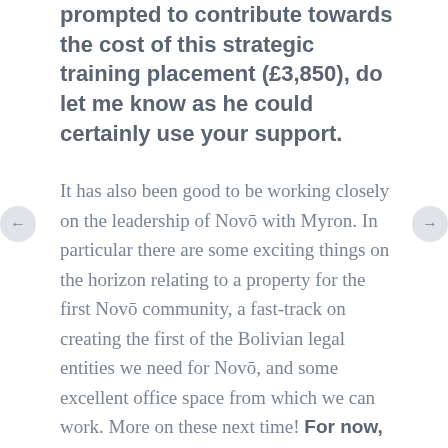prompted to contribute towards the cost of this strategic training placement (£3,850), do let me know as he could certainly use your support.
It has also been good to be working closely on the leadership of Novō with Myron. In particular there are some exciting things on the horizon relating to a property for the first Novō community, a fast-track on creating the first of the Bolivian legal entities we need for Novō, and some excellent office space from which we can work. More on these next time! For now, please pray for us as we develop our working relationship over the coming weeks and months.
Back in the UK the Novō Trustees have been working hard on our application for charitable status